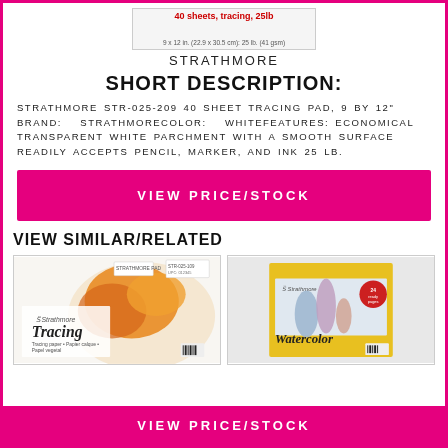[Figure (photo): Product image of Strathmore 40 sheet tracing pad, showing packaging with dimensions 9x12in (22.9x30.5cm), 25lb (41gsm)]
STRATHMORE
SHORT DESCRIPTION:
STRATHMORE STR-025-209 40 SHEET TRACING PAD, 9 BY 12"  BRAND:  STRATHMORECOLOR:  WHITEFEATURES: ECONOMICAL TRANSPARENT WHITE PARCHMENT WITH A SMOOTH SURFACE READILY ACCEPTS PENCIL, MARKER, AND INK 25 LB.
VIEW PRICE/STOCK
VIEW SIMILAR/RELATED
[Figure (photo): Strathmore Tracing paper pad product image]
[Figure (photo): Strathmore Watercolor pad product image with yellow cover]
VIEW PRICE/STOCK